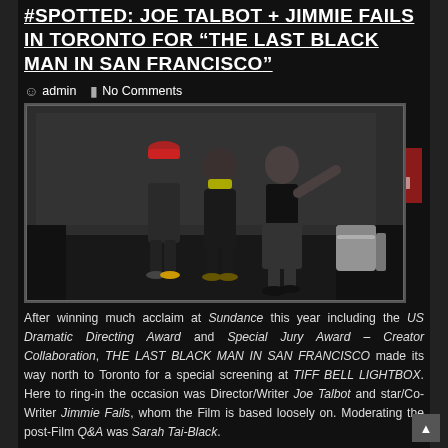#SPOTTED: JOE TALBOT + JIMMIE FAILS IN TORONTO FOR “THE LAST BLACK MAN IN SAN FRANCISCO”
admin   No Comments
[Figure (photo): Three people standing on a stage in front of a large screen. The leftmost person wears a red hat, the middle person wears a yellow scarf, and the rightmost person (a woman) is pointing outward. White chairs are visible on the right side of the stage.]
After winning much acclaim at Sundance this year including the US Dramatic Directing Award and Special Jury Award – Creator Collaboration, THE LAST BLACK MAN IN SAN FRANCISCO made its way north to Toronto for a special screening at TIFF BELL LIGHTBOX. Here to ring-in the occasion was Director/Writer Joe Talbot and star/Co-Writer Jimmie Fails, whom the Film is based loosely on. Moderating the post-Film Q&A was Sarah Tai-Black.